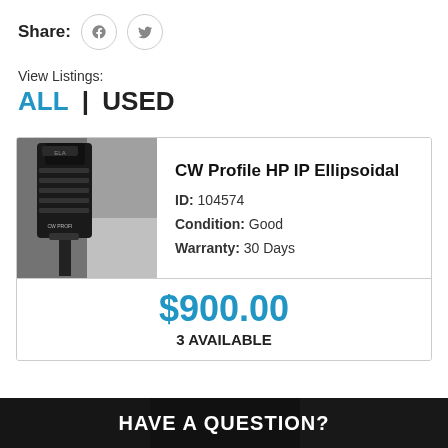Share:
View Listings:
ALL | USED
[Figure (photo): Close-up photo of a CW Profile HP IP Ellipsoidal stage lighting fixture, black, mounted on a stand, photographed outdoors on pavement.]
CW Profile HP IP Ellipsoidal
ID: 104574
Condition: Good
Warranty: 30 Days
$900.00
3 AVAILABLE
HAVE A QUESTION?